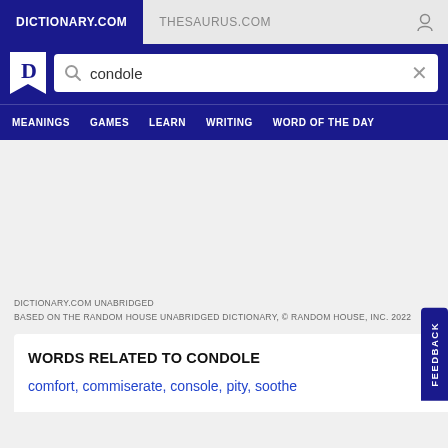DICTIONARY.COM | THESAURUS.COM
[Figure (screenshot): Dictionary.com search bar with the word 'condole' entered, with a magnifying glass search icon and X clear button]
MEANINGS  GAMES  LEARN  WRITING  WORD OF THE DAY
DICTIONARY.COM UNABRIDGED
BASED ON THE RANDOM HOUSE UNABRIDGED DICTIONARY, © RANDOM HOUSE, INC. 2022
WORDS RELATED TO CONDOLE
comfort, commiserate, console, pity, soothe